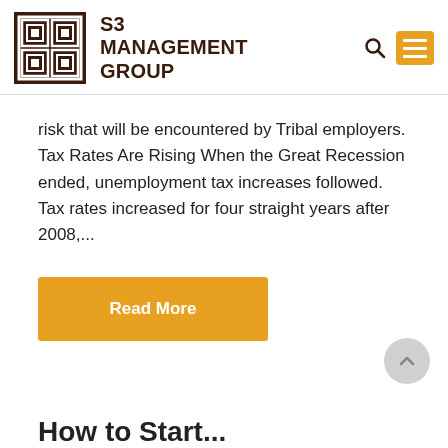[Figure (logo): S3 Management Group logo with decorative square maze-like icon in dark brown and white, company name to the right, search and hamburger menu icons on the far right]
risk that will be encountered by Tribal employers. Tax Rates Are Rising When the Great Recession ended, unemployment tax increases followed. Tax rates increased for four straight years after 2008,...
Read More
How to Start...